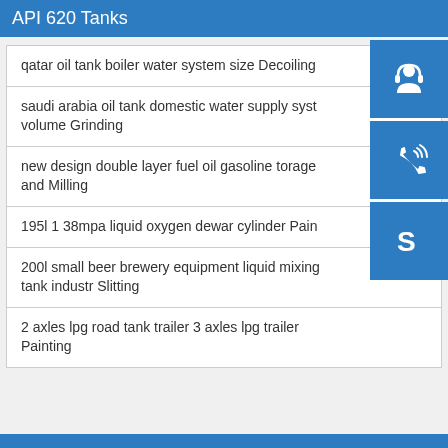API 620 Tanks
qatar oil tank boiler water system size Decoiling
saudi arabia oil tank domestic water supply system volume Grinding
new design double layer fuel oil gasoline torage and Milling
195l 1 38mpa liquid oxygen dewar cylinder Painting
200l small beer brewery equipment liquid mixing tank industr Slitting
2 axles lpg road tank trailer 3 axles lpg trailer Painting
[Figure (infographic): Three blue square icon buttons on the right side: top is a customer service/headset icon, middle is a phone/call icon, bottom is a Skype icon]